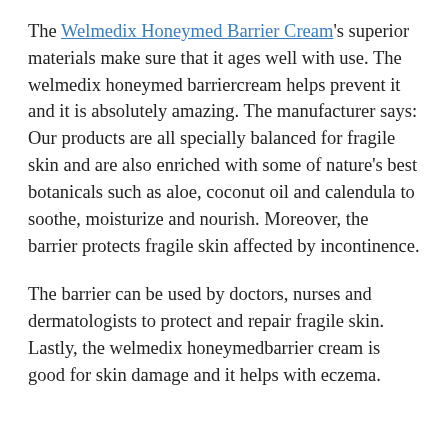The Welmedix Honeymed Barrier Cream's superior materials make sure that it ages well with use. The welmedix honeymed barriercream helps prevent it and it is absolutely amazing. The manufacturer says: Our products are all specially balanced for fragile skin and are also enriched with some of nature's best botanicals such as aloe, coconut oil and calendula to soothe, moisturize and nourish. Moreover, the barrier protects fragile skin affected by incontinence.
The barrier can be used by doctors, nurses and dermatologists to protect and repair fragile skin. Lastly, the welmedix honeymedbarrier cream is good for skin damage and it helps with eczema.